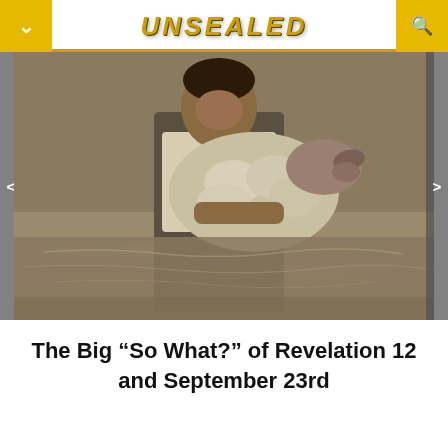UNSEALED
[Figure (photo): A man wading through flood water carrying a sheep on his shoulders. The water is murky brown and reaches waist height. The man is smiling slightly and wearing a light-colored shirt.]
The Big “So What?” of Revelation 12 and September 23rd